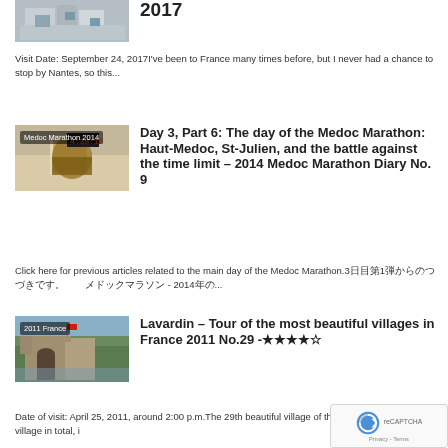[Figure (photo): Thumbnail photo of a construction or city scene, partially visible at top]
2017
Visit Date: September 24, 2017I've been to France many times before, but I never had a chance to stop by Nantes, so this...
[Figure (photo): Thumbnail photo labeled 'Medoc Marathon 2014' showing a barrel and clock timer reading 4:38:18]
Day 3, Part 6: The day of the Medoc Marathon: Haut-Medoc, St-Julien, and the battle against the time limit – 2014 Medoc Marathon Diary No. 9
Click here for previous articles related to the main day of the Medoc Marathon.3日目第1弾からのつづきです。　　メドックマラソン - 2014年の...
[Figure (photo): Thumbnail photo labeled '2011 France' showing a castle or fortress with greenery]
Lavardin – Tour of the most beautiful villages in France 2011 No.29 -★★★★☆
Date of visit: April 25, 2011, around 2:00 p.m.The 29th beautiful village of this trip, and the 59th village in total, i